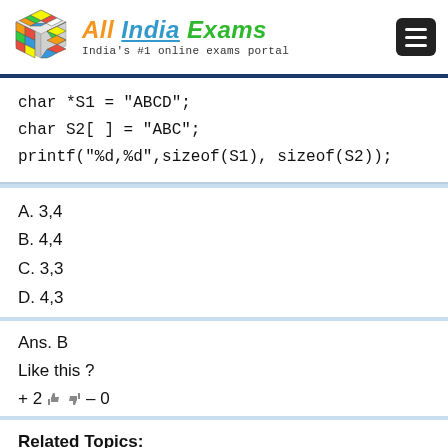[Figure (logo): All India Exams logo with Rubik's cube and site title 'All India Exams' and tagline 'India's #1 online exams portal']
char *S1 = "ABCD";
char S2[ ] = "ABC";
printf("%d,%d",sizeof(S1), sizeof(S2));
A. 3,4
B. 4,4
C. 3,3
D. 4,3
Ans. B
Like this ?
+ 2 👍 👎 – 0
Related Topics:
Delphi TVS Ongole